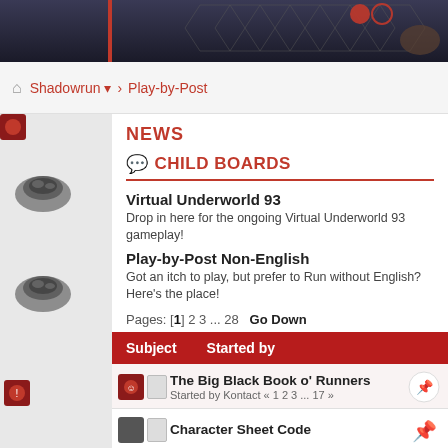[Figure (screenshot): Dark banner image showing a game scene for Shadowrun]
Shadowrun > Play-by-Post
NEWS
CHILD BOARDS
Virtual Underworld 93
Drop in here for the ongoing Virtual Underworld 93 gameplay!
Play-by-Post Non-English
Got an itch to play, but prefer to Run without English? Here's the place!
Pages: [1] 2 3 ... 28   Go Down
| Subject | Started by |
| --- | --- |
| The Big Black Book o' Runners | Started by Kontact « 1 2 3 ... 17 » |
| Character Sheet Code |  |